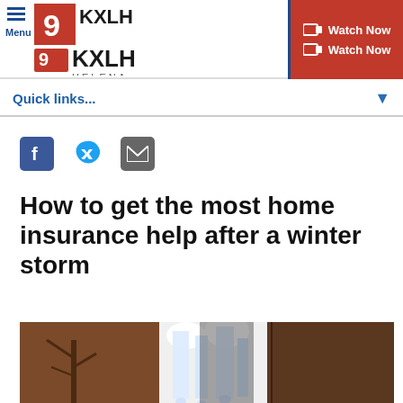Menu | KXLH Helena | Watch Now
Quick links...
[Figure (other): Social sharing icons: Facebook, Twitter, Email]
How to get the most home insurance help after a winter storm
[Figure (photo): Photo of a building exterior covered in large icicles after a winter storm, showing ice buildup on what appears to be a door or window area against a brown brick wall]